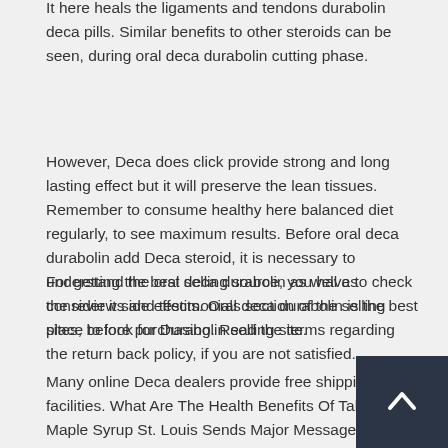It here heals the ligaments and tendons durabolin deca pills. Similar benefits to other steroids can be seen, during oral deca durabolin cutting phase.
However, Deca does click provide strong and long lasting effect but it will preserve the lean tissues. Remember to consume healthy here balanced diet regularly, to see maximum results. Before oral deca durabolin add Deca steroid, it is necessary to understand the oral deca durabolin as well as consider it side effects. Oral deca durabolin is the best place to look for Durabolin selling site.
For getting the best selling source, you have to check the reviews and testimonials section of the selling sites, before purchasing. Read the terms regarding the return back policy, if you are not satisfied.
Many online Deca dealers provide free shipping facilities. What Are The Health Benefits Of Taking Maple Syrup St. Louis Sends Major Message about Opioid Epidemic Why consid buying Clenbuterol from Mexico.